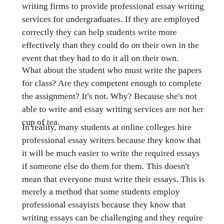writing firms to provide professional essay writing services for undergraduates. If they are employed correctly they can help students write more effectively than they could do on their own in the event that they had to do it all on their own.
What about the student who must write the papers for class? Are they competent enough to complete the assignment? It's not. Why? Because she's not able to write and essay writing services are not her cup of tea.
In reality, many students at online colleges hire professional essay writers because they know that it will be much easier to write the required essays if someone else do them for them. This doesn't mean that everyone must write their essays. This is merely a method that some students employ professional essayists because they know that writing essays can be challenging and they require someone with experience in this field. This is true regardless of whether you're writing an essay report, an opinion essay, or a personal essay. These essays will make colleges more likely to consider you.
One-page essays are not favored by college administrators. So, they often require essays to be lengthy, and require that each